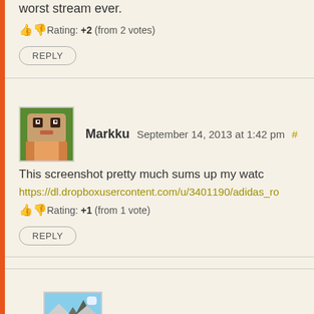worst stream ever.
Rating: +2 (from 2 votes)
REPLY
Markku September 14, 2013 at 1:42 pm #
This screenshot pretty much sums up my watc
https://dl.dropboxusercontent.com/u/3401190/adidas_ro
Rating: +1 (from 1 vote)
REPLY
Narc September 14, 2013 at 1:43 pm #
Yup